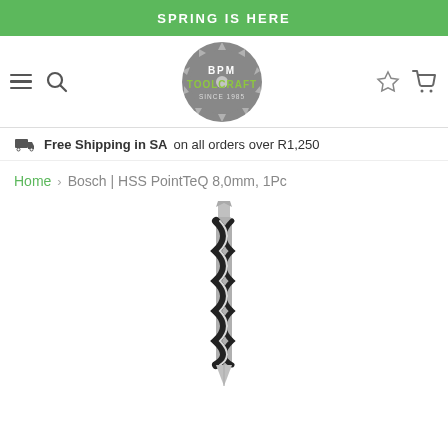SPRING IS HERE
[Figure (logo): BPM Toolcraft logo — circular saw blade shape in grey with text 'BPM TOOLCRAFT SINCE 1985']
Free Shipping in SA on all orders over R1,250
Home > Bosch | HSS PointTeQ 8,0mm, 1Pc
[Figure (photo): A single HSS PointTeQ twist drill bit with silver tip and black/silver fluted body, oriented vertically]